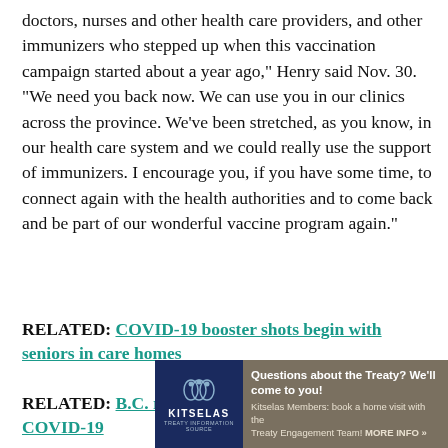doctors, nurses and other health care providers, and other immunizers who stepped up when this vaccination campaign started about a year ago," Henry said Nov. 30. "We need you back now. We can use you in our clinics across the province. We've been stretched, as you know, in our health care system and we could really use the support of immunizers. I encourage you, if you have some time, to connect again with the health authorities and to come back and be part of our wonderful vaccine program again."
RELATED: COVID-19 booster shots begin with seniors in care homes
RELATED: B.C. reports its first case of COVID-19
[Figure (other): Advertisement banner for Kitselas Treaty Information Source. Navy blue logo section with Kitselas emblem and name. Tan/brown text area reading: Questions about the Treaty? We'll come to you! Kitselas Members: book a home visit with the Treaty Engagement Team! MORE INFO »]